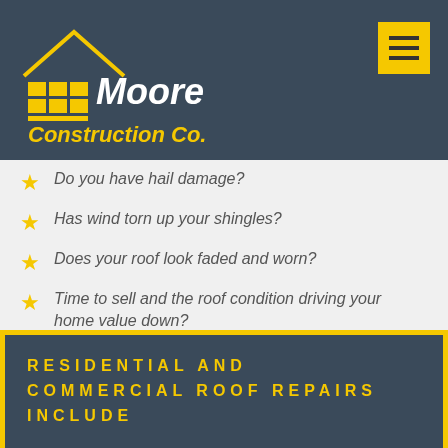Moore Construction Co.
Do you have hail damage?
Has wind torn up your shingles?
Does your roof look faded and worn?
Time to sell and the roof condition driving your home value down?
Or after years of heat and weather, is it just time for an updated look?
RESIDENTIAL AND COMMERCIAL ROOF REPAIRS INCLUDE